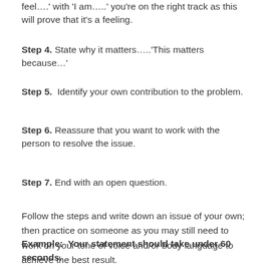feel….' with 'I am…..' you're on the right track as this will prove that it's a feeling.
Step 4. State why it matters…..'This matters because…'
Step 5. Identify your own contribution to the problem.
Step 6. Reassure that you want to work with the person to resolve the issue.
Step 7. End with an open question.
Follow the steps and write down an issue of your own; then practice on someone as you may still need to work on your tone of voice and/or body language to achieve the best result.
Example:  Your statement should take under 60 seconds.